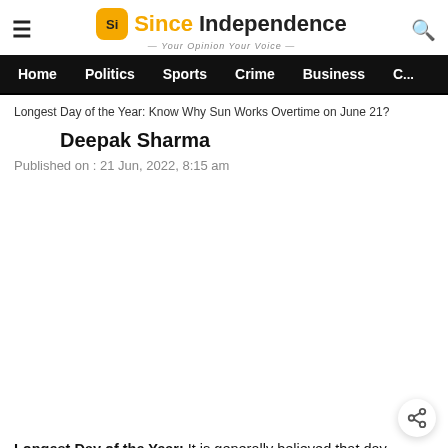Since Independence — Your Opinion Your Voice
Home | Politics | Sports | Crime | Business | C...
Longest Day of the Year: Know Why Sun Works Overtime on June 21?
Deepak Sharma
Published on : 21 Jun, 2022, 8:15 am
Longest Day of the Year: It is generally believed that day